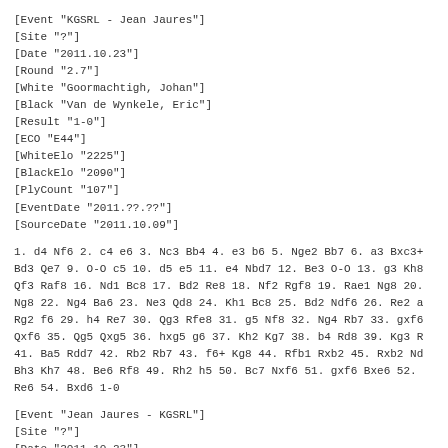[Event "KGSRL - Jean Jaures"]
[Site "?"]
[Date "2011.10.23"]
[Round "2.7"]
[White "Goormachtigh, Johan"]
[Black "Van de Wynkele, Eric"]
[Result "1-0"]
[ECO "E44"]
[WhiteElo "2225"]
[BlackElo "2090"]
[PlyCount "107"]
[EventDate "2011.??.??"]
[SourceDate "2011.10.09"]
1. d4 Nf6 2. c4 e6 3. Nc3 Bb4 4. e3 b6 5. Nge2 Bb7 6. a3 Bxc3+ Bd3 Qe7 9. O-O c5 10. d5 e5 11. e4 Nbd7 12. Be3 O-O 13. g3 Kh8 Qf3 Raf8 16. Nd1 Bc8 17. Bd2 Re8 18. Nf2 Rgf8 19. Rae1 Ng8 20. Ng8 22. Ng4 Ba6 23. Ne3 Qd8 24. Kh1 Bc8 25. Bd2 Ndf6 26. Re2 a Rg2 f6 29. h4 Re7 30. Qg3 Rfe8 31. g5 Nf8 32. Ng4 Rb7 33. gxf6 Qxf6 35. Qg5 Qxg5 36. hxg5 g6 37. Kh2 Kg7 38. b4 Rd8 39. Kg3 R 41. Ba5 Rdd7 42. Rb2 Rb7 43. f6+ Kg8 44. Rfb1 Rxb2 45. Rxb2 Nd Bh3 Kh7 48. Be6 Rf8 49. Rh2 h5 50. Bc7 Nxf6 51. gxf6 Bxe6 52. Re6 54. Bxd6 1-0
[Event "Jean Jaures - KGSRL"]
[Site "?"]
[Date "2011.10.23"]
[Round "2.8"]
[White "Bajraktari, Sadik"]
[Black "Vanheirzeele, Daniel"]
[Result "0-1"]